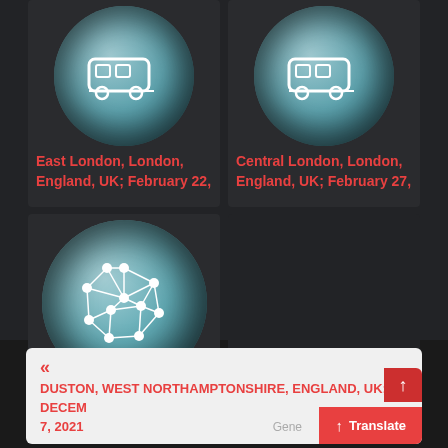[Figure (screenshot): Grid of location cards on dark background. Top-left card shows a bus/vehicle icon in a teal circle with text 'East London, London, England, UK; February 22,'. Top-right card shows a similar vehicle icon in a teal circle with text 'Central London, London, England, UK; February 27,'. Bottom-left card shows a network graph icon in a large teal circle with text 'Central London, London, England, UK; April 26,'. Bottom-right card is empty/dark.]
East London, London, England, UK; February 22,
Central London, London, England, UK; February 27,
Central London, London, England, UK; April 26,
«
DUSTON, WEST NORTHAMPTONSHIRE, ENGLAND, UK; DECEMBER 7, 2021